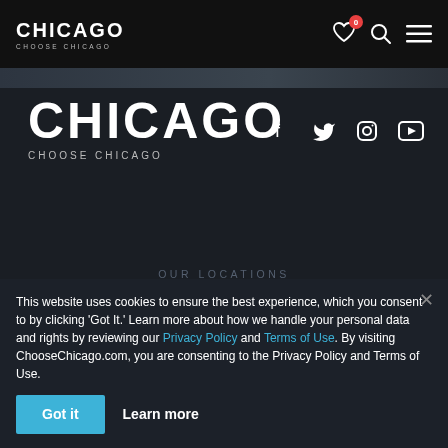[Figure (logo): Choose Chicago logo in top navigation bar - white text on black background, stylized CHICAGO letters with CHOOSE CHICAGO subtitle]
[Figure (logo): Large Choose Chicago logo in dark footer area - white stylized CHICAGO letters with CHOOSE CHICAGO subtitle]
[Figure (infographic): Social media icons row: Facebook, Twitter, Instagram, YouTube - white icons on dark background]
OUR LOCATIONS
Main offic...
This website uses cookies to ensure the best experience, which you consent to by clicking 'Got It.' Learn more about how we handle your personal data and rights by reviewing our Privacy Policy and Terms of Use. By visiting ChooseChicago.com, you are consenting to the Privacy Policy and Terms of Use.
Got it
Learn more